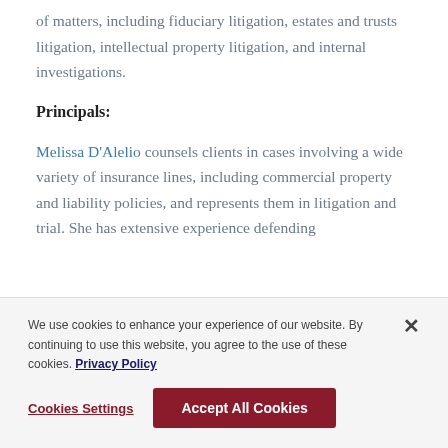of matters, including fiduciary litigation, estates and trusts litigation, intellectual property litigation, and internal investigations.
Principals:
Melissa D'Alelio counsels clients in cases involving a wide variety of insurance lines, including commercial property and liability policies, and represents them in litigation and trial. She has extensive experience defending
We use cookies to enhance your experience of our website. By continuing to use this website, you agree to the use of these cookies. Privacy Policy
Cookies Settings   Accept All Cookies